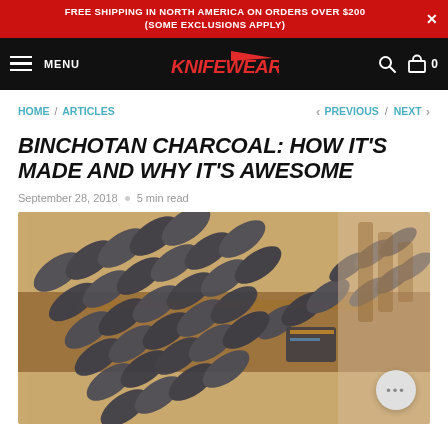FREE SHIPPING IN NORTH AMERICA ON ORDERS OVER $200 (SOME EXCLUSIONS APPLY)
[Figure (screenshot): Knifewear website navigation bar with hamburger menu, MENU text, Knifewear logo in red italic, search icon, and cart icon with 0]
HOME / ARTICLES       < PREVIOUS / NEXT >
BINCHOTAN CHARCOAL: HOW IT'S MADE AND WHY IT'S AWESOME
September 28, 2018  •  5 min read
[Figure (photo): Photo of binchotan charcoal pieces laid out on a wooden rack in a store setting]